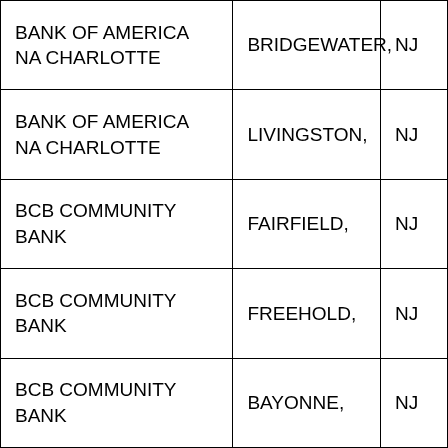| Institution | City | State |
| --- | --- | --- |
| BANK OF AMERICA NA CHARLOTTE | BRIDGEWATER, | NJ |
| BANK OF AMERICA NA CHARLOTTE | LIVINGSTON, | NJ |
| BCB COMMUNITY BANK | FAIRFIELD, | NJ |
| BCB COMMUNITY BANK | FREEHOLD, | NJ |
| BCB COMMUNITY BANK | BAYONNE, | NJ |